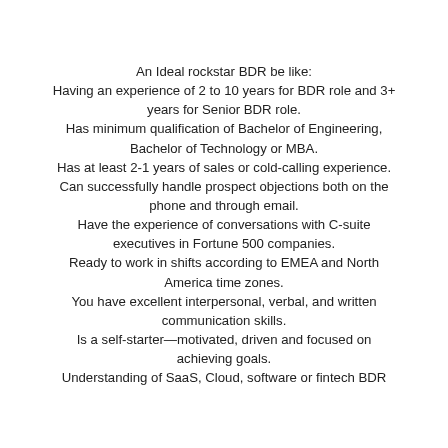An Ideal rockstar BDR be like:
Having an experience of 2 to 10 years for BDR role and 3+ years for Senior BDR role.
Has minimum qualification of Bachelor of Engineering, Bachelor of Technology or MBA.
Has at least 2-1 years of sales or cold-calling experience.
Can successfully handle prospect objections both on the phone and through email.
Have the experience of conversations with C-suite executives in Fortune 500 companies.
Ready to work in shifts according to EMEA and North America time zones.
You have excellent interpersonal, verbal, and written communication skills.
Is a self-starter—motivated, driven and focused on achieving goals.
Understanding of SaaS, Cloud, software or fintech BDR